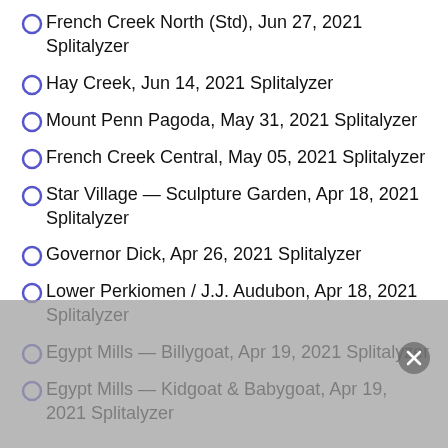French Creek North (Std), Jun 27, 2021 Splitalyzer
Hay Creek, Jun 14, 2021 Splitalyzer
Mount Penn Pagoda, May 31, 2021 Splitalyzer
French Creek Central, May 05, 2021 Splitalyzer
Star Village — Sculpture Garden, Apr 18, 2021 Splitalyzer
Governor Dick, Apr 26, 2021 Splitalyzer
Lower Perkiomen / J.J. Audubon, Apr 18, 2021 Splitalyzer
Egypt Mills — Billygoat, Apr 19, 2021 Splitalyzer
Egypt Mills — Kidgoat & Babygoat, Apr 19, 2021 Splitalyzer